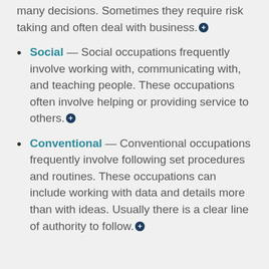many decisions. Sometimes they require risk taking and often deal with business.
Social — Social occupations frequently involve working with, communicating with, and teaching people. These occupations often involve helping or providing service to others.
Conventional — Conventional occupations frequently involve following set procedures and routines. These occupations can include working with data and details more than with ideas. Usually there is a clear line of authority to follow.